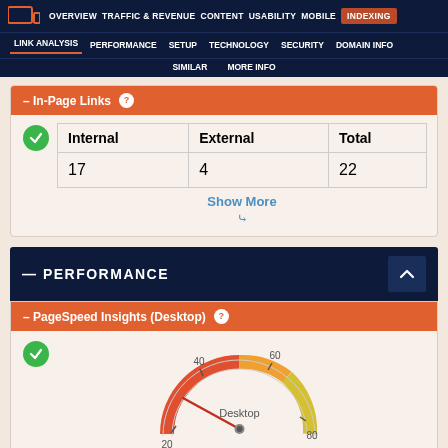OVERVIEW | TRAFFIC & REVENUE | CONTENT | USABILITY | MOBILE | INDEXING | LINK ANALYSIS | PERFORMANCE | SETUP | TECHNOLOGY | SECURITY | DOMAIN INFO | SIMILAR | MORE INFO
– In-Page Links ?
| Internal | External | Total |
| --- | --- | --- |
| 17 | 4 | 22 |
Show More
— PERFORMANCE
– PageSpeed Insights (Desktop) ?
[Figure (other): Speedometer/gauge showing Desktop performance score, with colored arc from red (low) through yellow to green (high), tick marks at 20, 40, 60, 80, with needle pointing low]